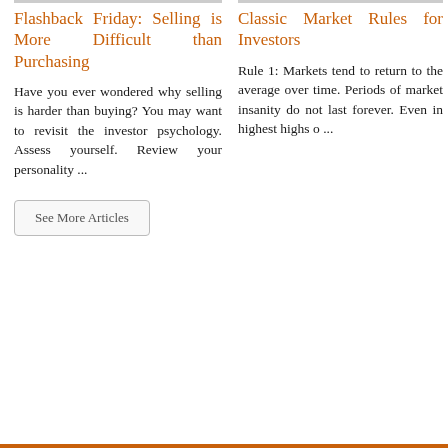Flashback Friday: Selling is More Difficult than Purchasing
Have you ever wondered why selling is harder than buying? You may want to revisit the investor psychology. Assess yourself. Review your personality ...
See More Articles
Classic Market Rules for Investors
Rule 1: Markets tend to return to the average over time. Periods of market insanity do not last forever. Even in highest highs o ...